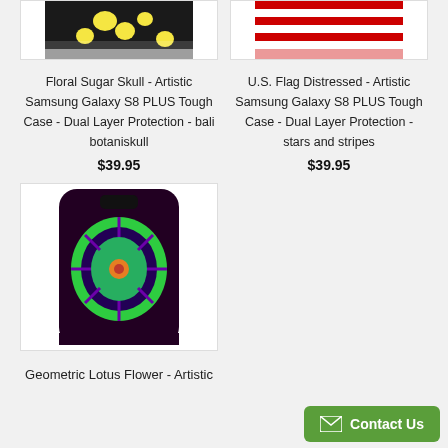[Figure (photo): Partial top view of Floral Sugar Skull Samsung Galaxy S8 PLUS phone case]
[Figure (photo): Partial top view of U.S. Flag Distressed Samsung Galaxy S8 PLUS phone case]
Floral Sugar Skull - Artistic Samsung Galaxy S8 PLUS Tough Case - Dual Layer Protection - bali botaniskull
$39.95
U.S. Flag Distressed - Artistic Samsung Galaxy S8 PLUS Tough Case - Dual Layer Protection - stars and stripes
$39.95
[Figure (photo): Geometric Lotus Flower Samsung Galaxy S8 PLUS tough phone case with green mandala design on purple/black background]
Geometric Lotus Flower - Artistic
Contact Us